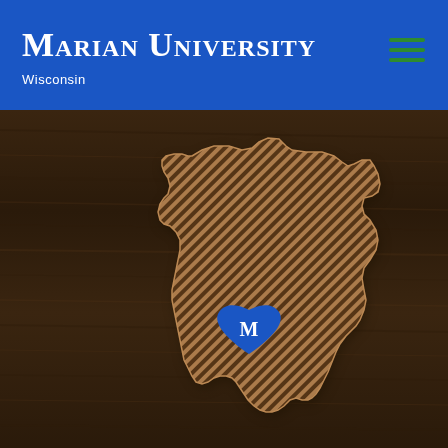Marian University Wisconsin
[Figure (illustration): Dark wood texture background with a diagonal-striped outline of the state of Wisconsin in golden/copper tones. In the center-lower area of the Wisconsin shape is a blue heart with the letter M in white.]